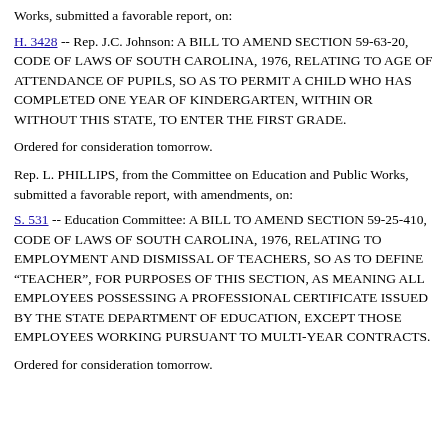Works, submitted a favorable report, on:
H. 3428 -- Rep. J.C. Johnson: A BILL TO AMEND SECTION 59-63-20, CODE OF LAWS OF SOUTH CAROLINA, 1976, RELATING TO AGE OF ATTENDANCE OF PUPILS, SO AS TO PERMIT A CHILD WHO HAS COMPLETED ONE YEAR OF KINDERGARTEN, WITHIN OR WITHOUT THIS STATE, TO ENTER THE FIRST GRADE.
Ordered for consideration tomorrow.
Rep. L. PHILLIPS, from the Committee on Education and Public Works, submitted a favorable report, with amendments, on:
S. 531 -- Education Committee: A BILL TO AMEND SECTION 59-25-410, CODE OF LAWS OF SOUTH CAROLINA, 1976, RELATING TO EMPLOYMENT AND DISMISSAL OF TEACHERS, SO AS TO DEFINE "TEACHER", FOR PURPOSES OF THIS SECTION, AS MEANING ALL EMPLOYEES POSSESSING A PROFESSIONAL CERTIFICATE ISSUED BY THE STATE DEPARTMENT OF EDUCATION, EXCEPT THOSE EMPLOYEES WORKING PURSUANT TO MULTI-YEAR CONTRACTS.
Ordered for consideration tomorrow.